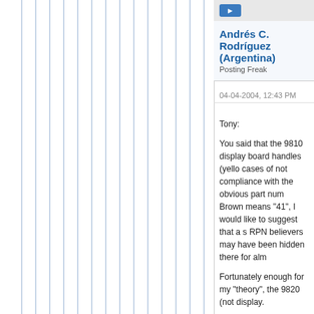[Figure (screenshot): Blue button in top bar of forum post]
Andrés C. Rodríguez (Argentina)
Posting Freak
04-04-2004, 12:43 PM
Tony:

You said that the 9810 display board handles (yello cases of not compliance with the obvious part num Brown means "41", I would like to suggest that a s RPN believers may have been hidden there for alm

Fortunately enough for my "theory", the 9820 (not display.

Also, I would never accept any Red-Gray (28), Yell White (49) combinations as a valid message for RP

But ... I wondered why the 28 series used a red sh plate; instead of keeping with the usual yellow ove clue for shifted key color changes over time? If so, have been the "57" (green-violet)!!